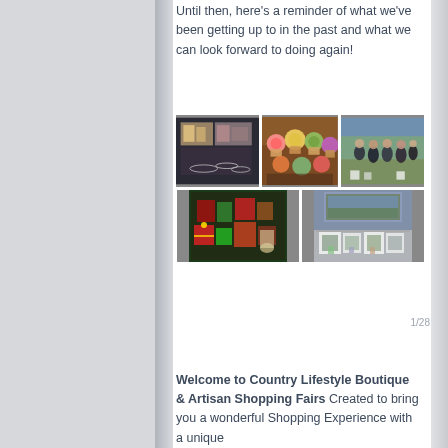Until then, here's a reminder of what we've been getting up to in the past and what we can look forward to doing again!
[Figure (photo): A collage of 5 photos showing craft fair / boutique shopping scenes: jewelry display, decorated cupcakes/sweets on a table, group of women outdoors, Christmas gift items display, and framed artwork/prints display.]
1/28
Welcome to Country Lifestyle Boutique & Artisan Shopping Fairs Created to bring you a wonderful Shopping Experience with a unique